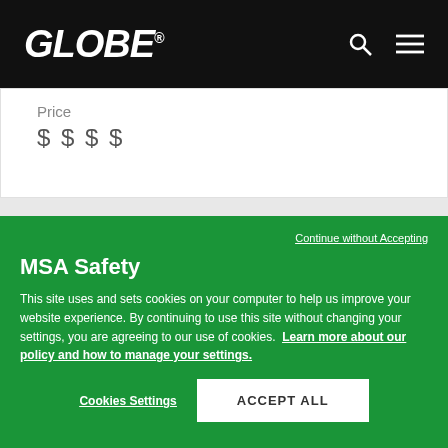GLOBE®
Price
$$$$
Continue without Accepting
MSA Safety
This site uses and sets cookies on your computer to help us improve your website experience. By continuing to use this site without changing your settings, you are agreeing to our use of cookies. Learn more about our policy and how to manage your settings.
Cookies Settings
ACCEPT ALL